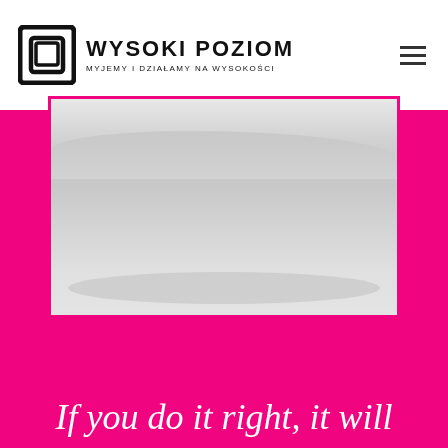[Figure (logo): Wysoki Poziom company logo with square bracket icon and text 'WYSOKI POZIOM' with tagline 'MYJEMY I DZIAŁAMY NA WYSOKOŚCI']
[Figure (photo): Black and white landscape photograph of a snowy or barren open terrain, framed with a pink/magenta border]
If you do it right, it will